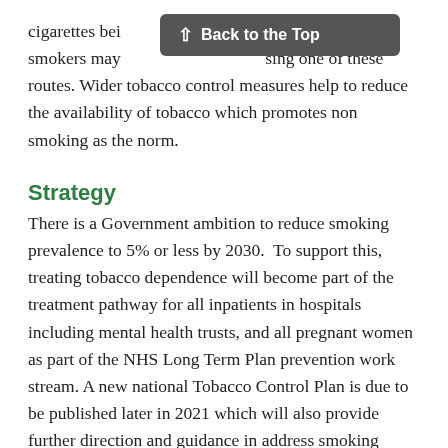cigarettes being [obscured] and as a result, smokers may [obscured] using one of these routes. Wider tobacco control measures help to reduce the availability of tobacco which promotes non smoking as the norm.
Strategy
There is a Government ambition to reduce smoking prevalence to 5% or less by 2030.  To support this, treating tobacco dependence will become part of the treatment pathway for all inpatients in hospitals including mental health trusts, and all pregnant women as part of the NHS Long Term Plan prevention work stream. A new national Tobacco Control Plan is due to be published later in 2021 which will also provide further direction and guidance in address smoking prevalence.
Smoking Prevalence